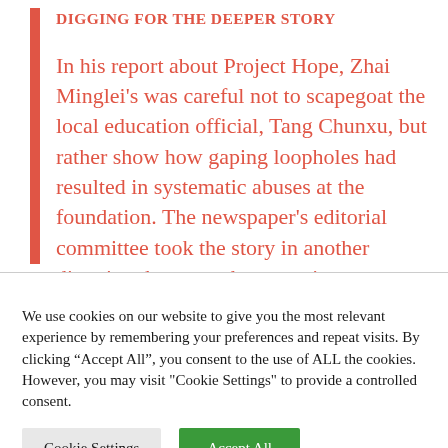DIGGING FOR THE DEEPER STORY
In his report about Project Hope, Zhai Minglei’s was careful not to scapegoat the local education official, Tang Chunxu, but rather show how gaping loopholes had resulted in systematic abuses at the foundation. The newspaper’s editorial committee took the story in another direction, however, by centering on
We use cookies on our website to give you the most relevant experience by remembering your preferences and repeat visits. By clicking “Accept All”, you consent to the use of ALL the cookies. However, you may visit "Cookie Settings" to provide a controlled consent.
Cookie Settings
Accept All